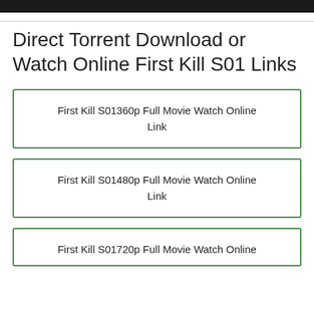Direct Torrent Download or Watch Online First Kill S01 Links
First Kill S01360p Full Movie Watch Online Link
First Kill S01480p Full Movie Watch Online Link
First Kill S01720p Full Movie Watch Online